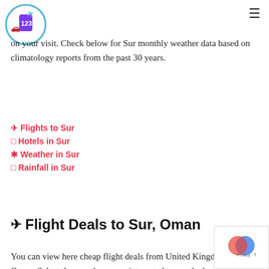[Figure (logo): Travel website logo with luggage tag and airplane]
on your visit. Check below for Sur monthly weather data based on climatology reports from the past 30 years.
✈ Flights to Sur
□ Hotels in Sur
✳ Weather in Sur
□ Rainfall in Sur
✈ Flight Deals to Sur, Oman
You can view here cheap flight deals from United Kingdom to Oman. Select the month you are interested to see the best airfares available: